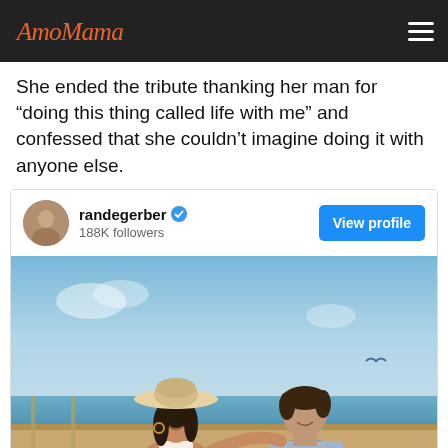AmoMama
She ended the tribute thanking her man for “doing this thing called life with me” and confessed that she couldn’t imagine doing it with anyone else.
[Figure (screenshot): Instagram profile embed card for user 'randegerber' with blue verified checkmark, 188K followers, a 'View profile' blue button, and a photo of a couple (woman in white bikini and wide-brim hat, man in light blue shirt) sitting together on a boat with ocean and sky in background.]